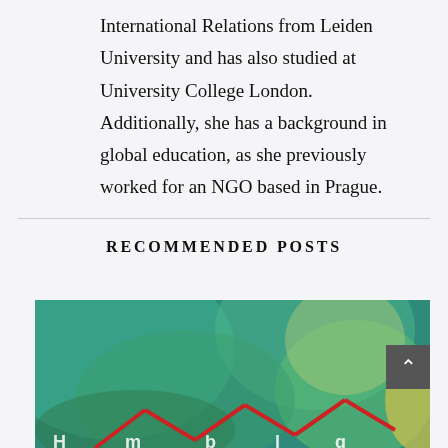International Relations from Leiden University and has also studied at University College London. Additionally, she has a background in global education, as she previously worked for an NGO based in Prague.
RECOMMENDED POSTS
[Figure (illustration): A colorful illustrated image with teal, green, and yellow organic shapes. Red angular lines resembling a molecular or structural diagram are visible in the lower portion. Partial white text appears at the bottom edge.]